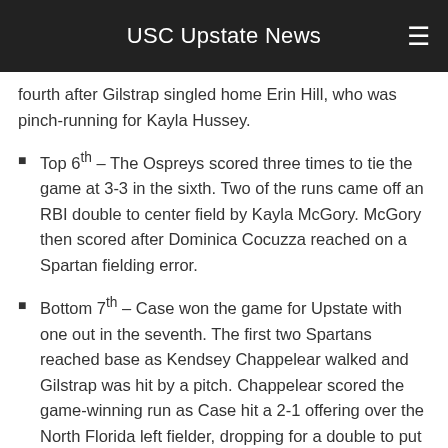USC Upstate News
fourth after Gilstrap singled home Erin Hill, who was pinch-running for Kayla Hussey.
Top 6th – The Ospreys scored three times to tie the game at 3-3 in the sixth. Two of the runs came off an RBI double to center field by Kayla McGory. McGory then scored after Dominica Cocuzza reached on a Spartan fielding error.
Bottom 7th – Case won the game for Upstate with one out in the seventh. The first two Spartans reached base as Kendsey Chappelear walked and Gilstrap was hit by a pitch. Chappelear scored the game-winning run as Case hit a 2-1 offering over the North Florida left fielder, dropping for a double to put the final score at 4-3.